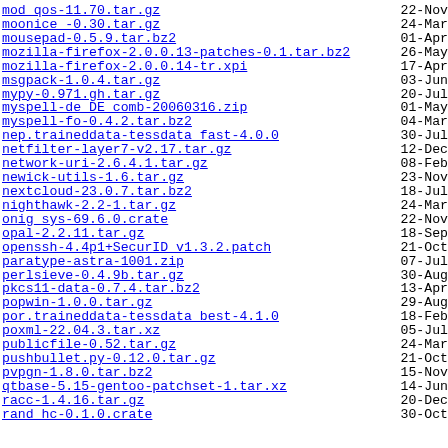mod_qos-11.70.tar.gz  22-Nov
moonice -0.30.tar.gz  24-Mar
mousepad-0.5.9.tar.bz2  01-Apr
mozilla-firefox-2.0.0.13-patches-0.1.tar.bz2  26-May
mozilla-firefox-2.0.0.14-tr.xpi  17-Apr
msgpack-1.0.4.tar.gz  03-Jun
mypy-0.971.gh.tar.gz  20-Jul
myspell-de_DE_comb-20060316.zip  01-May
myspell-fo-0.4.2.tar.bz2  04-Mar
nep.traineddata-tessdata_fast-4.0.0  30-Jul
netfilter-layer7-v2.17.tar.gz  12-Dec
network-uri-2.6.4.1.tar.gz  08-Feb
newick-utils-1.6.tar.gz  23-Nov
nextcloud-23.0.7.tar.bz2  18-Jul
nighthawk-2.2-1.tar.gz  24-Mar
onig_sys-69.6.0.crate  22-Nov
opal-2.2.11.tar.gz  18-Sep
openssh-4.4p1+SecurID_v1.3.2.patch  21-Oct
paratype-astra-1001.zip  07-Jul
perlsieve-0.4.9b.tar.gz  30-Aug
pkcs11-data-0.7.4.tar.bz2  13-Apr
popwin-1.0.0.tar.gz  29-Aug
por.traineddata-tessdata_best-4.1.0  18-Feb
poxml-22.04.3.tar.xz  05-Jul
publicfile-0.52.tar.gz  24-Mar
pushbullet.py-0.12.0.tar.gz  21-Oct
pvpgn-1.8.0.tar.bz2  15-Nov
qtbase-5.15-gentoo-patchset-1.tar.xz  14-Jun
racc-1.4.16.tar.gz  20-Dec
rand_hc-0.1.0.crate  30-Oct